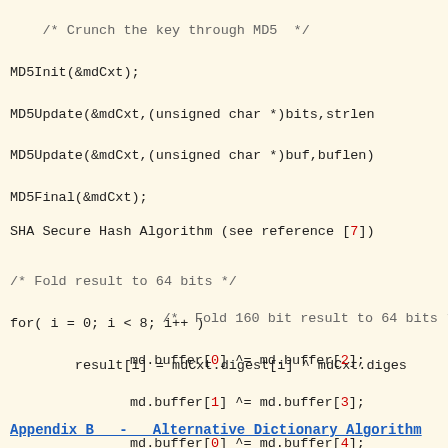/* Crunch the key through MD5  */
MD5Init(&mdCxt);
MD5Update(&mdCxt,(unsigned char *)bits,strlen
MD5Update(&mdCxt,(unsigned char *)buf,buflen)
MD5Final(&mdCxt);

/* Fold result to 64 bits */
for( i = 0; i < 8; i++ )
        result[i] = mdCxt.digest[i] ^ mdCxt.diges
SHA Secure Hash Algorithm (see reference [7])
/*  Fold 160 bit result to 64 bits */
md.buffer[0] ^= md.buffer[2];
md.buffer[1] ^= md.buffer[3];
md.buffer[0] ^= md.buffer[4];
Appendix B   -   Alternative Dictionary Algorithm